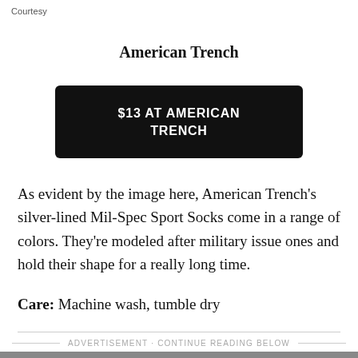Courtesy
American Trench
$13 AT AMERICAN TRENCH
As evident by the image here, American Trench's silver-lined Mil-Spec Sport Socks come in a range of colors. They're modeled after military issue ones and hold their shape for a really long time.
Care:  Machine wash, tumble dry
ADVERTISEMENT · CONTINUE READING BELOW